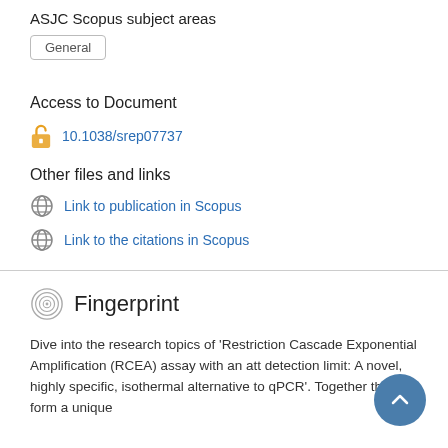ASJC Scopus subject areas
General
Access to Document
10.1038/srep07737
Other files and links
Link to publication in Scopus
Link to the citations in Scopus
Fingerprint
Dive into the research topics of 'Restriction Cascade Exponential Amplification (RCEA) assay with an att detection limit: A novel, highly specific, isothermal alternative to qPCR'. Together they form a unique